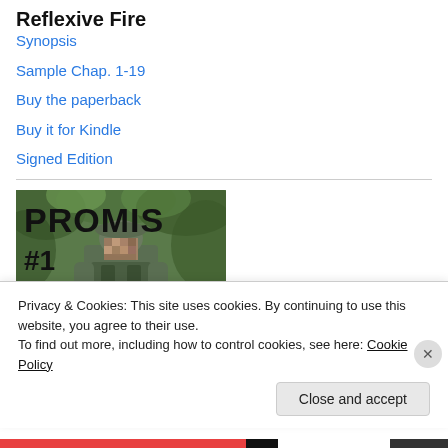Reflexive Fire
Synopsis
Sample Chap. 1-19
Buy the paperback
Buy it for Kindle
Signed Edition
[Figure (photo): Book cover image showing a soldier in camouflage with text 'PROMIS #1' overlaid on a green jungle/forest background]
Privacy & Cookies: This site uses cookies. By continuing to use this website, you agree to their use.
To find out more, including how to control cookies, see here: Cookie Policy